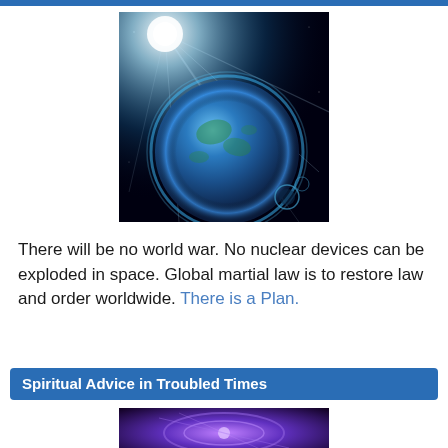[Figure (illustration): Artistic image of planet Earth from space with bright blue light rays radiating from upper left, dark background, glowing blue atmosphere, with smaller spherical objects in lower right]
There will be no world war. No nuclear devices can be exploded in space. Global martial law is to restore law and order worldwide. There is a Plan.
Spiritual Advice in Troubled Times
[Figure (illustration): Abstract cosmic/spiritual image with swirling purple and blue light energy, glowing patterns on dark background]